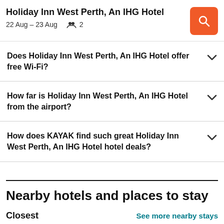Holiday Inn West Perth, An IHG Hotel
22 Aug – 23 Aug  👥 2
Does Holiday Inn West Perth, An IHG Hotel offer free Wi-Fi?
How far is Holiday Inn West Perth, An IHG Hotel from the airport?
How does KAYAK find such great Holiday Inn West Perth, An IHG Hotel hotel deals?
Nearby hotels and places to stay
Closest
See more nearby stays